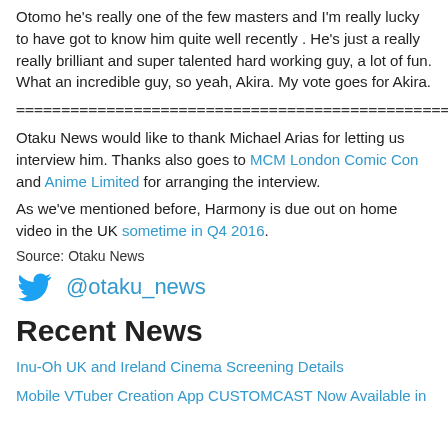Otomo he's really one of the few masters and I'm really lucky to have got to know him quite well recently . He's just a really really brilliant and super talented hard working guy, a lot of fun. What an incredible guy, so yeah, Akira. My vote goes for Akira.
================================================
Otaku News would like to thank Michael Arias for letting us interview him. Thanks also goes to MCM London Comic Con and Anime Limited for arranging the interview.
As we've mentioned before, Harmony is due out on home video in the UK sometime in Q4 2016.
Source: Otaku News
[Figure (logo): Twitter bird logo with @otaku_news handle]
Recent News
Inu-Oh UK and Ireland Cinema Screening Details
Mobile VTuber Creation App CUSTOMCAST Now Available in